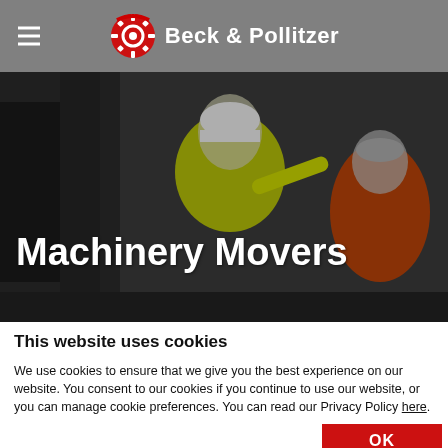Beck & Pollitzer
[Figure (photo): Workers in safety gear including yellow high-vis jacket with Beck & Pollitzer logo and white hard hat, pointing at industrial machinery]
Machinery Movers
This website uses cookies
We use cookies to ensure that we give you the best experience on our website. You consent to our cookies if you continue to use our website, or you can manage cookie preferences. You can read our Privacy Policy here.